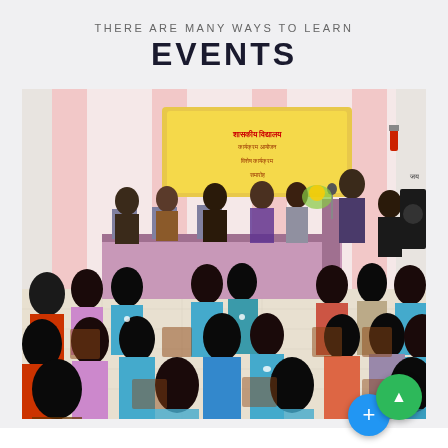THERE ARE MANY WAYS TO LEARN
EVENTS
[Figure (photo): Indoor event or seminar scene. An audience of mostly young women sits on wooden chairs facing a stage area. On stage, several people are seated at a draped table, and a man stands at a microphone/podium. A banner with Hindi/Marathi text is displayed on the back wall, decorated with pink and white fabric. A speaker system is visible on the right side.]